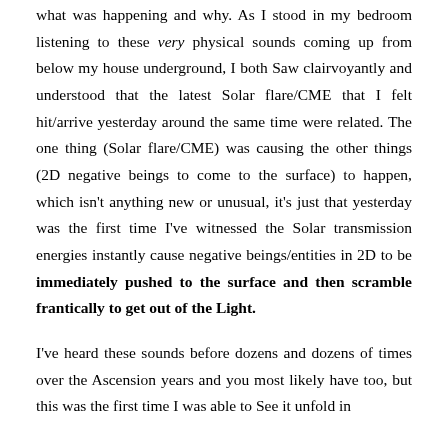what was happening and why. As I stood in my bedroom listening to these very physical sounds coming up from below my house underground, I both Saw clairvoyantly and understood that the latest Solar flare/CME that I felt hit/arrive yesterday around the same time were related. The one thing (Solar flare/CME) was causing the other things (2D negative beings to come to the surface) to happen, which isn't anything new or unusual, it's just that yesterday was the first time I've witnessed the Solar transmission energies instantly cause negative beings/entities in 2D to be immediately pushed to the surface and then scramble frantically to get out of the Light.
I've heard these sounds before dozens and dozens of times over the Ascension years and you most likely have too, but this was the first time I was able to See it unfold in